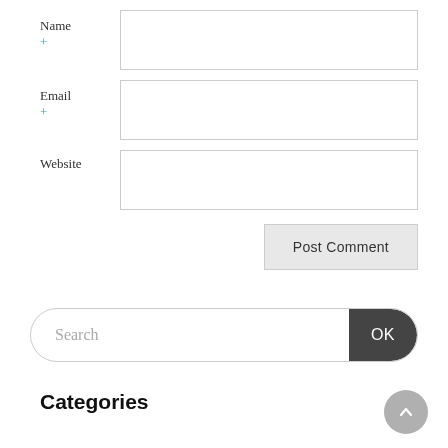Name
+
Email
+
Website
Post Comment
Search
OK
Categories